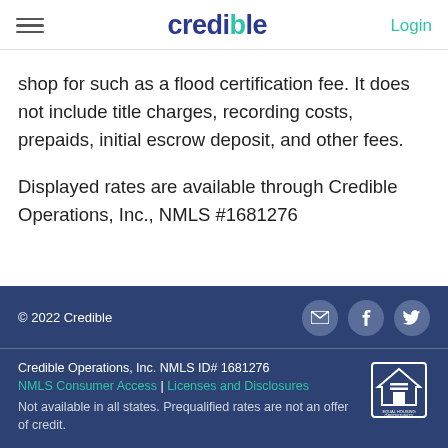credible | Login
shop for such as a flood certification fee. It does not include title charges, recording costs, prepaids, initial escrow deposit, and other fees.
Displayed rates are available through Credible Operations, Inc., NMLS #1681276
© 2022 Credible
Credible Operations, Inc. NMLS ID# 1681276
NMLS Consumer Access | Licenses and Disclosures
Not available in all states. Prequalified rates are not an offer of credit.